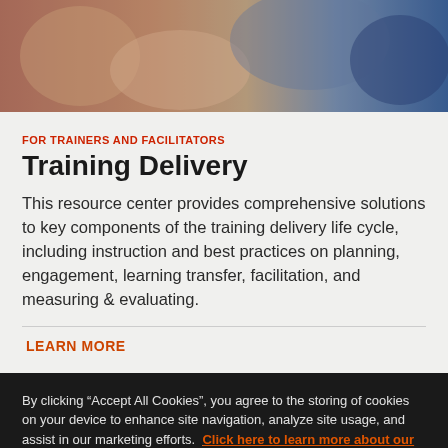[Figure (photo): Banner image showing people in a training or workplace setting with blurred background, warm tones on left and blue tones on right]
FOR TRAINERS AND FACILITATORS
Training Delivery
This resource center provides comprehensive solutions to key components of the training delivery life cycle, including instruction and best practices on planning, engagement, learning transfer, facilitation, and measuring & evaluating.
LEARN MORE
By clicking “Accept All Cookies”, you agree to the storing of cookies on your device to enhance site navigation, analyze site usage, and assist in our marketing efforts.  Click here to learn more about our cookie policy.
Accept Cookies